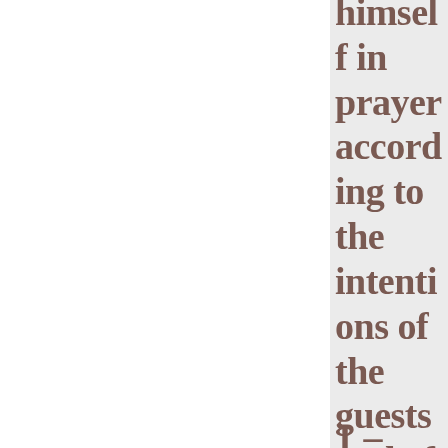himself in prayer according to the intentions of the guests and of the meeting that was to come.
1 –